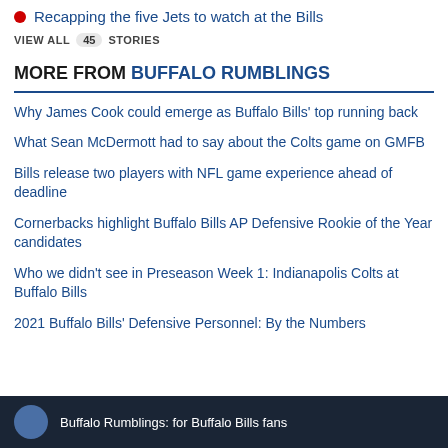Recapping the five Jets to watch at the Bills
VIEW ALL 45 STORIES
MORE FROM BUFFALO RUMBLINGS
Why James Cook could emerge as Buffalo Bills’ top running back
What Sean McDermott had to say about the Colts game on GMFB
Bills release two players with NFL game experience ahead of deadline
Cornerbacks highlight Buffalo Bills AP Defensive Rookie of the Year candidates
Who we didn’t see in Preseason Week 1: Indianapolis Colts at Buffalo Bills
2021 Buffalo Bills’ Defensive Personnel: By the Numbers
Buffalo Rumblings: for Buffalo Bills fans